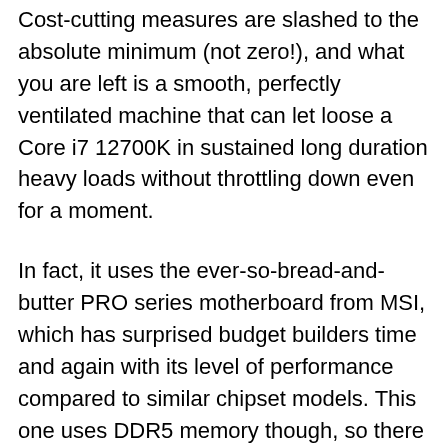Cost-cutting measures are slashed to the absolute minimum (not zero!), and what you are left is a smooth, perfectly ventilated machine that can let loose a Core i7 12700K in sustained long duration heavy loads without throttling down even for a moment.
In fact, it uses the ever-so-bread-and-butter PRO series motherboard from MSI, which has surprised budget builders time and again with its level of performance compared to similar chipset models. This one uses DDR5 memory though, so there is a considerable markup in cost for what only amounts to “future-